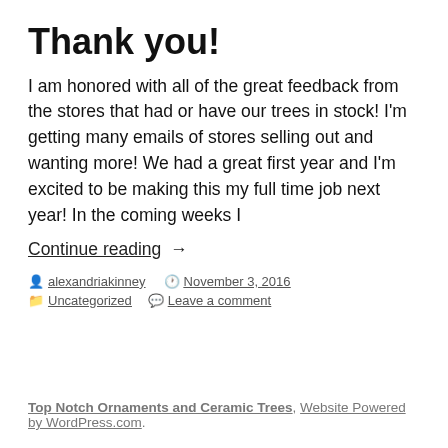Thank you!
I am honored with all of the great feedback from the stores that had or have our trees in stock!  I'm getting many emails of stores selling out and wanting more! We had a great first year and I'm excited to be making this my full time job next year! In the coming weeks I
Continue reading  →
alexandriakinney  November 3, 2016  Uncategorized  Leave a comment
Top Notch Ornaments and Ceramic Trees, Website Powered by WordPress.com.